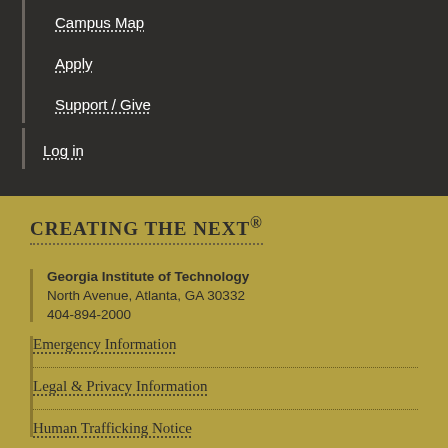Campus Map
Apply
Support / Give
Log in
CREATING THE NEXT®
Georgia Institute of Technology
North Avenue, Atlanta, GA 30332
404-894-2000
Emergency Information
Legal & Privacy Information
Human Trafficking Notice